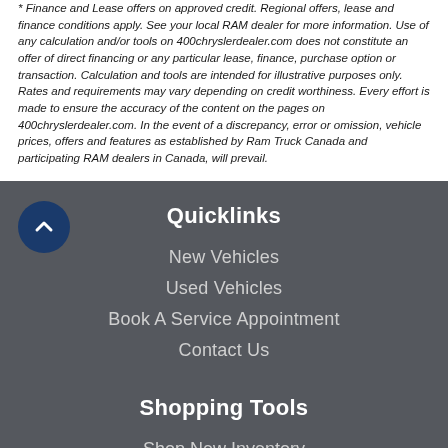* Finance and Lease offers on approved credit. Regional offers, lease and finance conditions apply. See your local RAM dealer for more information. Use of any calculation and/or tools on 400chryslerdealer.com does not constitute an offer of direct financing or any particular lease, finance, purchase option or transaction. Calculation and tools are intended for illustrative purposes only. Rates and requirements may vary depending on credit worthiness. Every effort is made to ensure the accuracy of the content on the pages on 400chryslerdealer.com. In the event of a discrepancy, error or omission, vehicle prices, offers and features as established by Ram Truck Canada and participating RAM dealers in Canada, will prevail.
Quicklinks
New Vehicles
Used Vehicles
Book A Service Appointment
Contact Us
Shopping Tools
Shop New Inventory